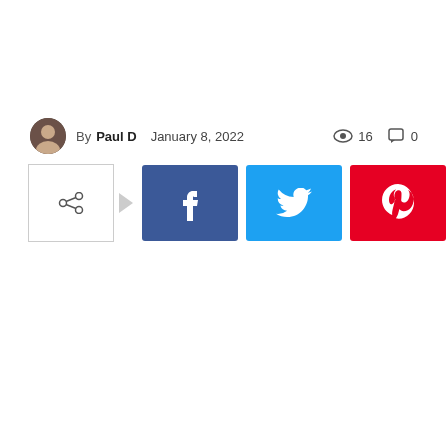By Paul D   January 8, 2022   👁 16   💬 0
[Figure (infographic): Social share bar with share icon button, arrow indicator, and four colored social media buttons: Facebook (blue, f), Twitter (cyan, bird), Pinterest (red, P), WhatsApp (green, phone icon)]